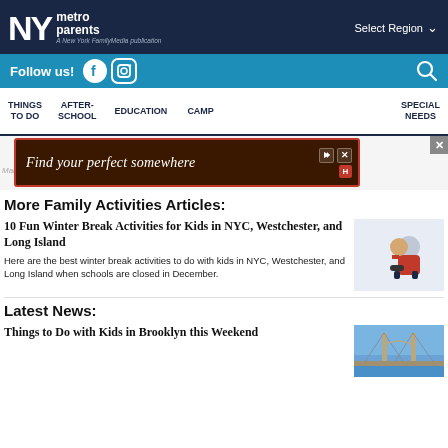NY metro parents — A New York FamilyMedia publication
Follow us!
THINGS TO DO   AFTER-SCHOOL   EDUCATION   CAMP   SPECIAL NEEDS
[Figure (screenshot): Advertisement banner: Find your perfect somewhere]
More Family Activities Articles:
10 Fun Winter Break Activities for Kids in NYC, Westchester, and Long Island
Here are the best winter break activities to do with kids in NYC, Westchester, and Long Island when schools are closed in December.
[Figure (photo): Child in red coat sitting in snow]
Latest News:
Things to Do with Kids in Brooklyn this Weekend
[Figure (photo): Brooklyn Bridge photo]